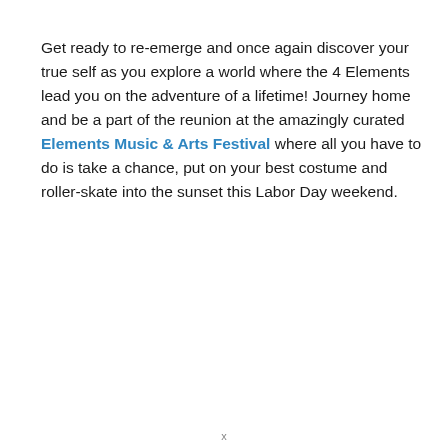Get ready to re-emerge and once again discover your true self as you explore a world where the 4 Elements lead you on the adventure of a lifetime! Journey home and be a part of the reunion at the amazingly curated Elements Music & Arts Festival where all you have to do is take a chance, put on your best costume and roller-skate into the sunset this Labor Day weekend.
x